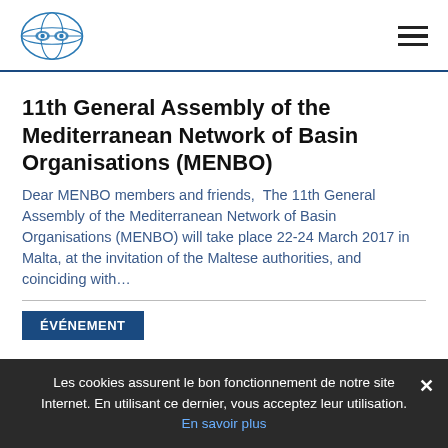[INBO logo] [hamburger menu]
11th General Assembly of the Mediterranean Network of Basin Organisations (MENBO)
Dear MENBO members and friends,  The 11th General Assembly of the Mediterranean Network of Basin Organisations (MENBO) will take place 22-24 March 2017 in Malta, at the invitation of the Maltese authorities, and coinciding with…
ÉVÉNEMENT
EECCA NWO International Conference : Challenges of
Les cookies assurent le bon fonctionnement de notre site Internet. En utilisant ce dernier, vous acceptez leur utilisation. En savoir plus